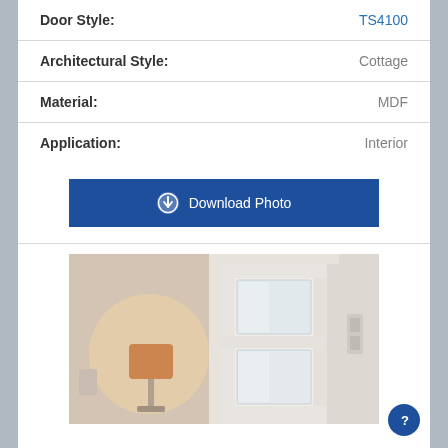| Label | Value |
| --- | --- |
| Door Style: | TS4100 |
| Architectural Style: | Cottage |
| Material: | MDF |
| Application: | Interior |
[Figure (screenshot): Download Photo button — dark blue rectangle with download icon and text 'Download Photo']
[Figure (photo): Interior door photo showing a white panel door with glass panels in a room with a lamp visible on the left]